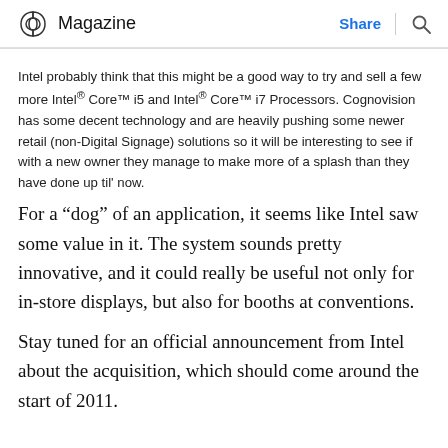Magazine  Share
Intel probably think that this might be a good way to try and sell a few more Intel® Core™ i5 and Intel® Core™ i7 Processors. Cognovision has some decent technology and are heavily pushing some newer retail (non-Digital Signage) solutions so it will be interesting to see if with a new owner they manage to make more of a splash than they have done up til' now.
For a “dog” of an application, it seems like Intel saw some value in it. The system sounds pretty innovative, and it could really be useful not only for in-store displays, but also for booths at conventions.
Stay tuned for an official announcement from Intel about the acquisition, which should come around the start of 2011.